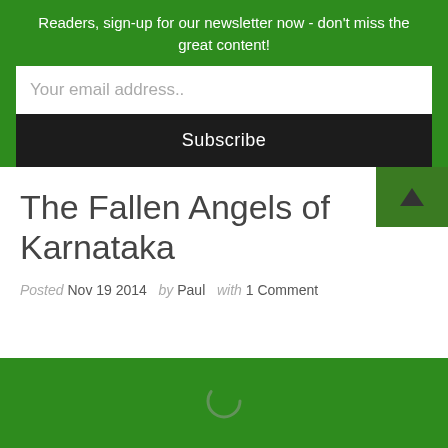Readers, sign-up for our newsletter now - don't miss the great content!
Your email address..
Subscribe
The Fallen Angels of Karnataka
Posted Nov 19 2014  by  Paul  with  1 Comment